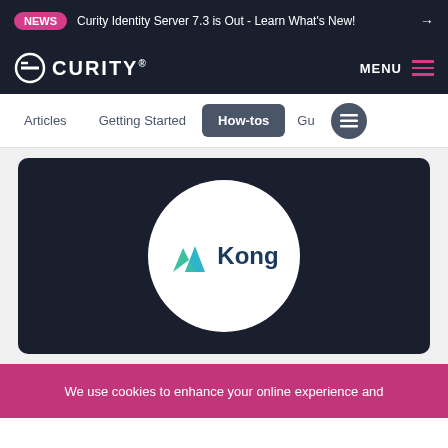NEWS  Curity Identity Server 7.3 is Out - Learn What's New! →
CURITY® MENU
Articles  Getting Started  How-tos  Gu
[Figure (logo): Kong logo inside a white circle on a dark navy background card. The Kong logo shows a teal and green mountain/arrow icon with the word 'Kong' in dark navy bold text.]
We use cookies to enhance your online experience and